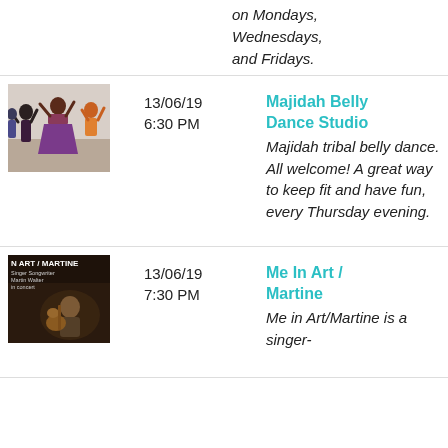on Mondays, Wednesdays, and Fridays.
13/06/19 6:30 PM
Majidah Belly Dance Studio
Majidah tribal belly dance. All welcome! A great way to keep fit and have fun, every Thursday evening.
[Figure (photo): Group of women performing belly dance in a studio, wearing colorful costumes.]
13/06/19 7:30 PM
Me In Art / Martine
Me in Art/Martine is a singer-
[Figure (photo): Promotional image for Me In Art / Martine, singer-songwriter Martin Walter in concert, person with guitar.]